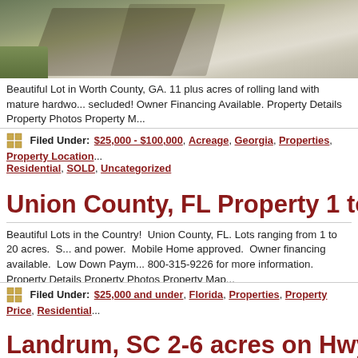[Figure (photo): Outdoor photo showing gravel/dirt road with tree shadows, green grass and trees visible]
Beautiful Lot in Worth County, GA. 11 plus acres of rolling land with mature hardwo... secluded! Owner Financing Available. Property Details Property Photos Property M...
Filed Under: $25,000 - $100,000, Acreage, Georgia, Properties, Property Location... Residential, SOLD, Uncategorized
Union County, FL Property 1 to 20 acres
Beautiful Lots in the Country! Union County, FL. Lots ranging from 1 to 20 acres. S... and power. Mobile Home approved. Owner financing available. Low Down Paym... 800-315-9226 for more information. Property Details Property Photos Property Map
Filed Under: $25,000 and under, Florida, Properties, Property Price, Residential
Landrum, SC 2-6 acres on Hwy 176...